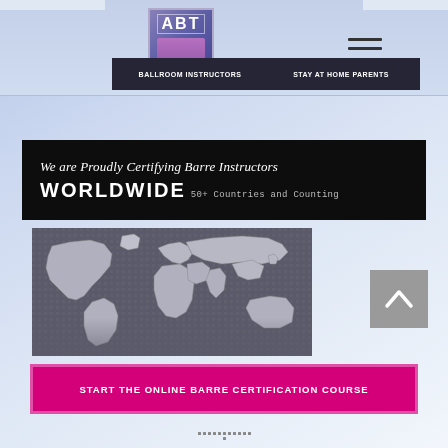[Figure (logo): ABT logo — square with purple/blue gradient background and stylized figure, text ABT]
[Figure (screenshot): Hamburger menu icon (three horizontal lines) for mobile navigation]
BALLROOM INSTRUCTORS
STAY AT HOME PARENTS
We are Proudly Certifying Barre Instructors WORLDWIDE 50+ Countries and Counting
[Figure (map): Grayscale world map showing continents, on a dark gray background]
[Figure (other): Gray square scroll-to-top button with white upward-pointing chevron/arrow]
START THE ONLINE BARRE CERTIFICATION COURSE